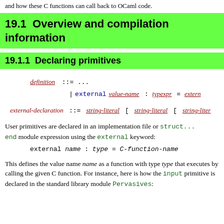and how these C functions can call back to OCaml code.
19.1  Overview and compilation information
19.1.1  Declaring primitives
User primitives are declared in an implementation file or struct... end module expression using the external keyword:
This defines the value name name as a function with type type that executes by calling the given C function. For instance, here is how the input primitive is declared in the standard library module Pervasives: